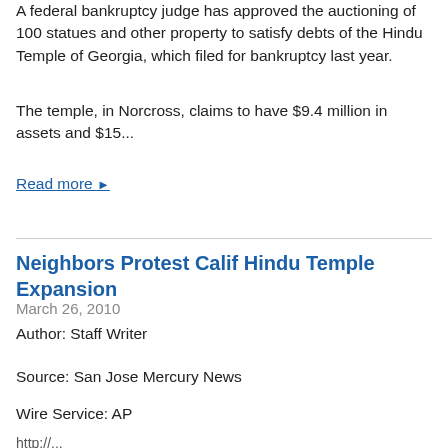A federal bankruptcy judge has approved the auctioning of 100 statues and other property to satisfy debts of the Hindu Temple of Georgia, which filed for bankruptcy last year.
The temple, in Norcross, claims to have $9.4 million in assets and $15...
Read more ▶
Neighbors Protest Calif Hindu Temple Expansion
March 26, 2010
Author: Staff Writer
Source: San Jose Mercury News
Wire Service: AP
http://...